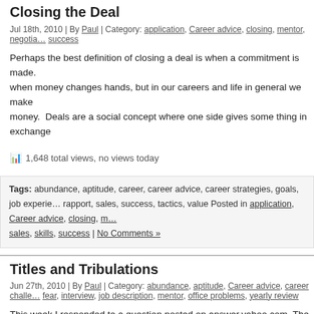Closing the Deal
Jul 18th, 2010 | By Paul | Category: application, Career advice, closing, mentor, negotia… success
Perhaps the best definition of closing a deal is when a commitment is made. when money changes hands, but in our careers and life in general we make money. Deals are a social concept where one side gives some thing in exchange
1,648 total views, no views today
Tags: abundance, aptitude, career, career advice, career strategies, goals, job experie… rapport, sales, success, tactics, value Posted in application, Career advice, closing, m… sales, skills, success | No Comments »
Titles and Tribulations
Jun 27th, 2010 | By Paul | Category: abundance, aptitude, Career advice, career challe… fear, interview, job description, mentor, office problems, yearly review
This week I responded to a question posted on answer.yahoo.com. The questio… and my other 2 colleagues that she is going to change our job titles as its not work in. Our titles are Team Leaders and she wants to change it […]